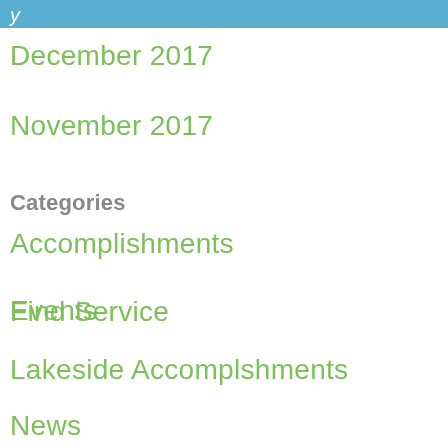y
December 2017
November 2017
Categories
Accomplishments
Events
Find Service
Lakeside Accomplshments
News
Meta